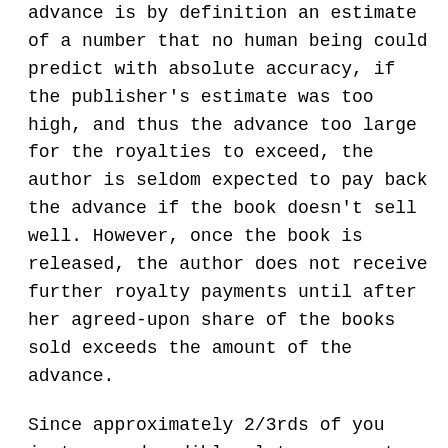advance is by definition an estimate of a number that no human being could predict with absolute accuracy, if the publisher's estimate was too high, and thus the advance too large for the royalties to exceed, the author is seldom expected to pay back the advance if the book doesn't sell well. However, once the book is released, the author does not receive further royalty payments until after her agreed-upon share of the books sold exceeds the amount of the advance.
Since approximately 2/3rds of you just gasped audibly, let me repeat that last bit: the